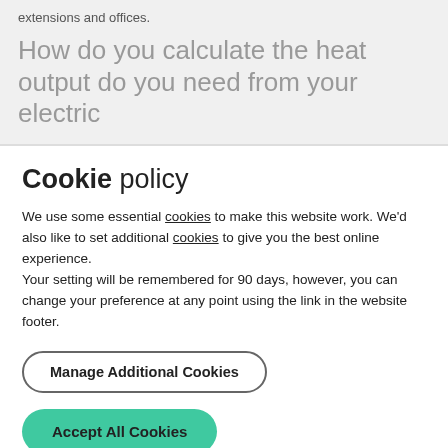extensions and offices.
How do you calculate the heat output do you need from your electric
Cookie policy
We use some essential cookies to make this website work. We'd also like to set additional cookies to give you the best online experience.
Your setting will be remembered for 90 days, however, you can change your preference at any point using the link in the website footer.
Manage Additional Cookies
Accept All Cookies